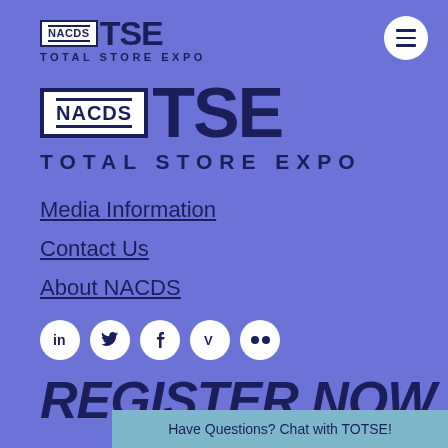[Figure (logo): NACDS TSE Total Store Expo logo - small version in top left]
[Figure (other): Hamburger menu button - white circle with three horizontal lines]
[Figure (logo): NACDS TSE Total Store Expo logo - large version center]
Media Information
Contact Us
About NACDS
[Figure (other): Social media icons: LinkedIn, Twitter, Facebook, Vimeo, Flickr]
REGISTER NOW
Have Questions? Chat with TOTSE!